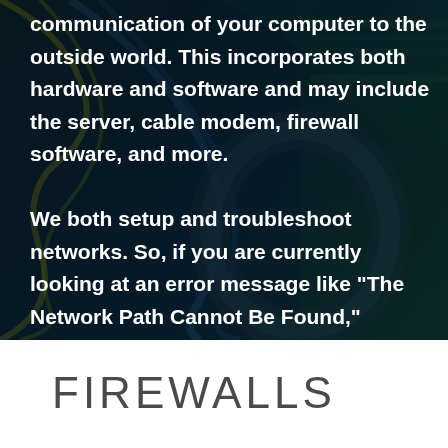communication of your computer to the outside world. This incorporates both hardware and software and may include the server, cable modem, firewall software, and more.

We both setup and troubleshoot networks. So, if you are currently looking at an error message like "The Network Path Cannot Be Found," contact us and we'll help you resolve any connectivity issues, hardware problems, outdated software, and more.
FIREWALLS